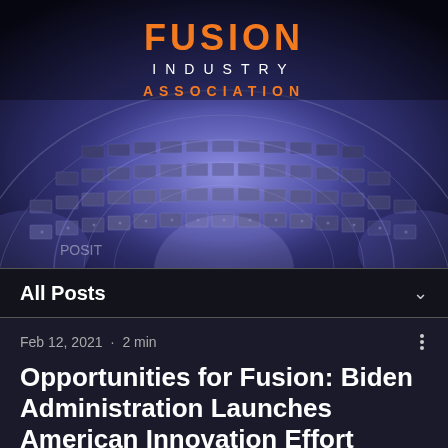[Figure (photo): Fusion reactor tokamak interior with glowing blue-purple electromagnetic rings and tiled wall panels. Fusion Industry Association logo overlaid at top center with orange FUSION text, white INDUSTRY text, and orange ASSOCIATION text.]
All Posts
Feb 12, 2021 · 2 min
Opportunities for Fusion: Biden Administration Launches American Innovation Effort